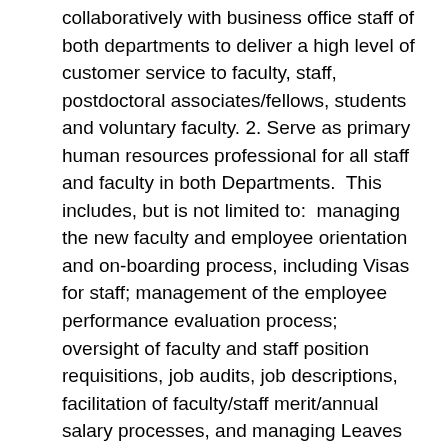collaboratively with business office staff of both departments to deliver a high level of customer service to faculty, staff, postdoctoral associates/fellows, students and voluntary faculty. 2. Serve as primary human resources professional for all staff and faculty in both Departments.  This includes, but is not limited to:  managing the new faculty and employee orientation and on-boarding process, including Visas for staff; management of the employee performance evaluation process; oversight of faculty and staff position requisitions, job audits, job descriptions, facilitation of faculty/staff merit/annual salary processes, and managing Leaves of Absence for staff and faculty.  3. Manage all processes related to postdoctoral appointees, including hiring, salary and supplement recommendations, reappointments, disciplinary issues, orientation and termination for both departments. 4. Manage the business office senior administrative staff of Cell Biology and ensure smooth operations related to